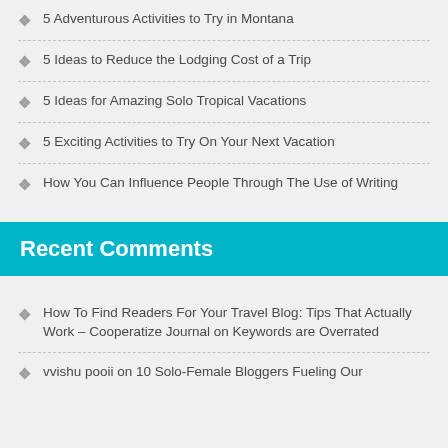5 Adventurous Activities to Try in Montana
5 Ideas to Reduce the Lodging Cost of a Trip
5 Ideas for Amazing Solo Tropical Vacations
5 Exciting Activities to Try On Your Next Vacation
How You Can Influence People Through The Use of Writing
Recent Comments
How To Find Readers For Your Travel Blog: Tips That Actually Work – Cooperatize Journal on Keywords are Overrated
vvishu pooii on 10 Solo-Female Bloggers Fueling Our